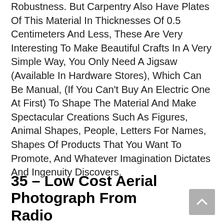Robustness. But Carpentry Also Have Plates Of This Material In Thicknesses Of 0.5 Centimeters And Less, These Are Very Interesting To Make Beautiful Crafts In A Very Simple Way, You Only Need A Jigsaw (Available In Hardware Stores), Which Can Be Manual, (If You Can't Buy An Electric One At First) To Shape The Material And Make Spectacular Creations Such As Figures, Animal Shapes, People, Letters For Names, Shapes Of Products That You Want To Promote, And Whatever Imagination Dictates And Ingenuity Discovers.
35 – Low Cost Aerial Photograph From Radio